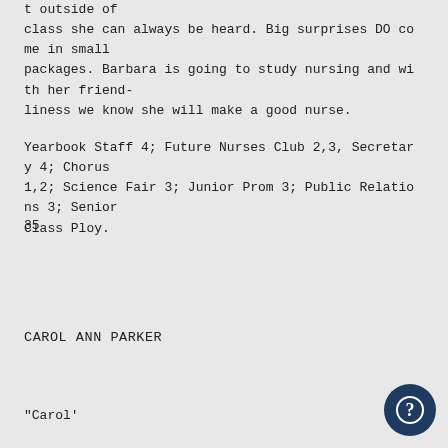t outside of
class she can always be heard. Big surprises DO come in small
packages. Barbara is going to study nursing and with her friend-
liness we know she will make a good nurse.
Yearbook Staff 4; Future Nurses Club 2,3, Secretary 4; Chorus
1,2; Science Fair 3; Junior Prom 3; Public Relations 3; Senior
Class Ploy.
35
CAROL ANN PARKER
"Carol'